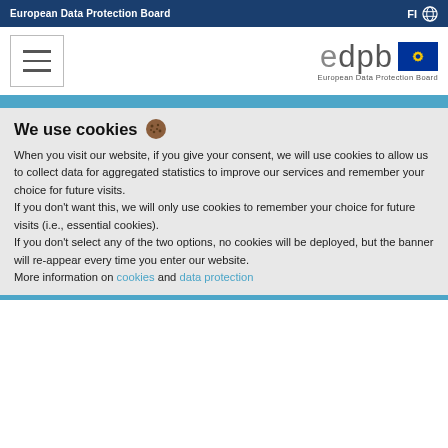European Data Protection Board | FI
[Figure (logo): EDPB logo with European Union flag and text 'European Data Protection Board']
We use cookies 🍪
When you visit our website, if you give your consent, we will use cookies to allow us to collect data for aggregated statistics to improve our services and remember your choice for future visits.
If you don't want this, we will only use cookies to remember your choice for future visits (i.e., essential cookies).
If you don't select any of the two options, no cookies will be deployed, but the banner will re-appear every time you enter our website.
More information on cookies and data protection